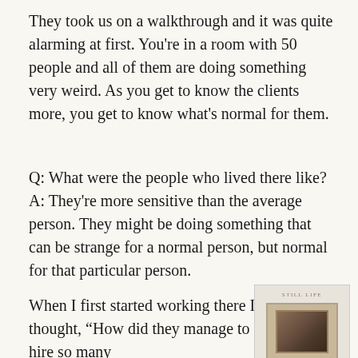They took us on a walkthrough and it was quite alarming at first. You're in a room with 50 people and all of them are doing something very weird. As you get to know the clients more, you get to know what's normal for them.
Q: What were the people who lived there like? A: They're more sensitive than the average person. They might be doing something that can be strange for a normal person, but normal for that particular person.
When I first started working there I thought, “How did they manage to hire so many
[Figure (illustration): A book cover with the title 'STILL LIFE' shown in small spaced uppercase letters, with an image of a framed painting below it. The background is a beige/tan color.]